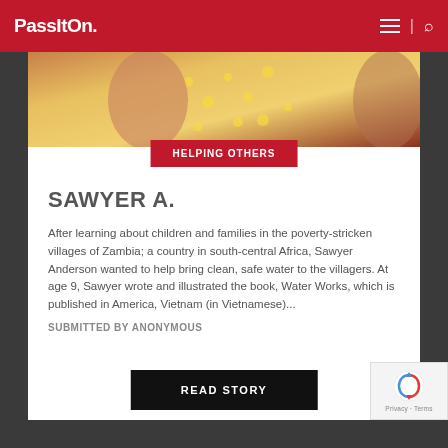PassItOn.
[Figure (photo): Partial view of a child or person wearing a yellow patterned top, cropped image showing torso/arms area]
HELPING OTHERS
SAWYER A.
After learning about children and families in the poverty-stricken villages of Zambia; a country in south-central Africa, Sawyer Anderson wanted to help bring clean, safe water to the villagers. At age 9, Sawyer wrote and illustrated the book, Water Works, which is published in America, Vietnam (in Vietnamese)...
SUBMITTED BY ANONYMOUS
READ STORY